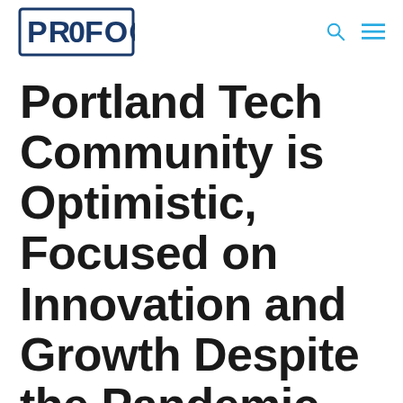PROFOCUS [logo] with search and menu icons
Portland Tech Community is Optimistic, Focused on Innovation and Growth Despite the Pandemic, ProFocus Technology Trends Report Shows